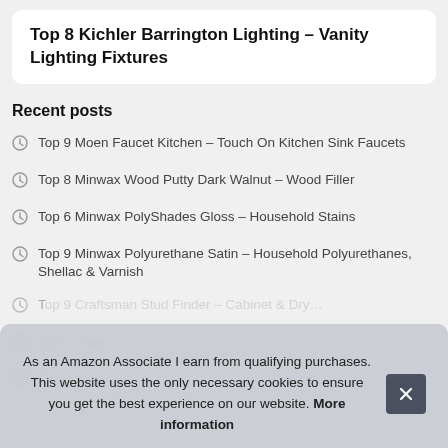Top 8 Kichler Barrington Lighting – Vanity Lighting Fixtures
Recent posts
Top 9 Moen Faucet Kitchen – Touch On Kitchen Sink Faucets
Top 8 Minwax Wood Putty Dark Walnut – Wood Filler
Top 6 Minwax PolyShades Gloss – Household Stains
Top 9 Minwax Polyurethane Satin – Household Polyurethanes, Shellac & Varnish
T… (partially obscured)
T… Fan… (partially obscured)
T… (partially obscured)
As an Amazon Associate I earn from qualifying purchases. This website uses the only necessary cookies to ensure you get the best experience on our website. More information